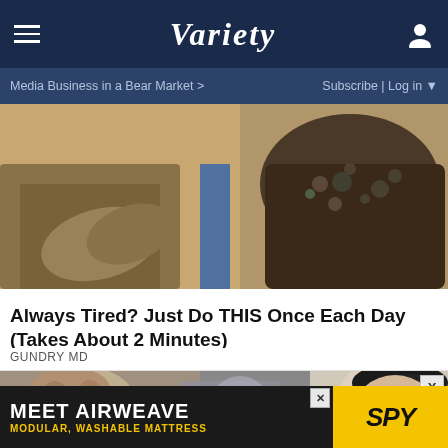VARIETY — Media Business in a Bear Market > | Subscribe | Log in
[Figure (photo): Close-up image of a person in a suit with a pot or bowl visible, brownish tones, appears to be a health/food advertisement image]
Always Tired? Just Do THIS Once Each Day (Takes About 2 Minutes)
GUNDRY MD
[Figure (photo): Two men embracing or close together, one with dark slicked-back hair visible prominently on the right, blurred background with another person]
[Figure (screenshot): Bottom advertisement banner: MEET AIRWEAVE MODULAR, WASHABLE MATTRESS with SPY logo on yellow background]